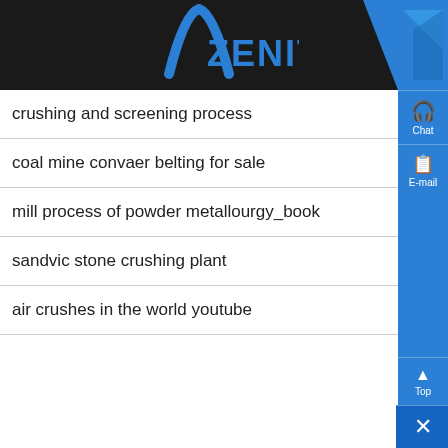ZENIT
crushing and screening process
coal mine convaer belting for sale
mill process of powder metallourgy_book
sandvic stone crushing plant
air crushes in the world youtube
[Figure (logo): Zenit company logo - blue arch symbol with ZENIT text in blue]
As a leading global manufacturer of crushing, grinding and mini...
Chat
E-mail
Top